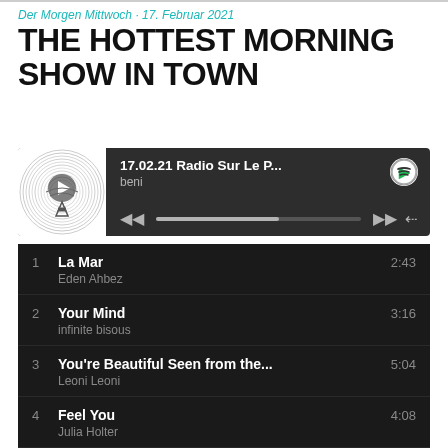Der Morgen Mittwoch · 17. Februar 2021
THE HOTTEST MORNING SHOW IN TOWN
[Figure (screenshot): Spotify player widget showing '17.02.21 Radio Sur Le P...' playlist by beni, with album art of a radio tower, playback controls, progress bar, and share icon]
1  La Mar  2:43  Eden Ahbez
2  Your Mind  3:16  infinite bisous
3  You're Beautiful Seen from the...  5:04  Leoni Leoni
4  Feel You  4:08  Julia Holter
5  Le roy  5:37  Perrine 3000